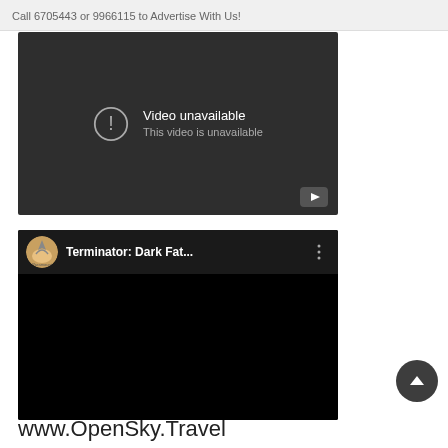Call 6705443 or 9966115 to Advertise With Us!
[Figure (screenshot): YouTube embedded video player showing 'Video unavailable - This video is unavailable' error message on dark background with play button icon]
[Figure (screenshot): YouTube embedded video player with Paramount Pictures channel thumbnail and title 'Terminator: Dark Fat...' with three-dot menu, black video body]
www.OpenSky.Travel